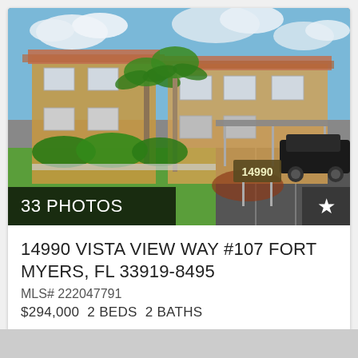[Figure (photo): Exterior photo of a two-story Florida condominium complex with tan stucco walls, palm trees, manicured landscaping, a covered carport with a black SUV parked, and a sign reading 14990 in the front yard. Sky with clouds visible in background.]
33 PHOTOS
14990 VISTA VIEW WAY #107 FORT MYERS, FL 33919-8495
MLS# 222047791
$294,000  2 BEDS  2 BATHS